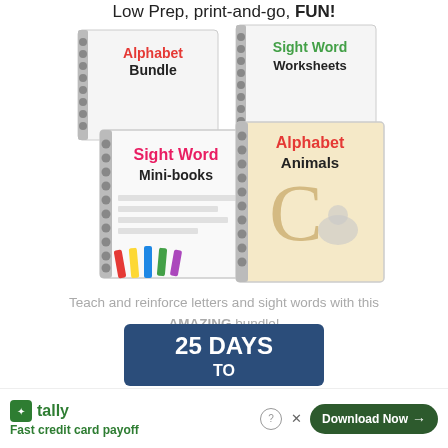Low Prep, print-and-go, FUN!
[Figure (illustration): Four spiral-bound educational workbooks: Alphabet Bundle, Sight Word Worksheets, Sight Word Mini-books, and Alphabet Animals, arranged in a stacked display]
Teach and reinforce letters and sight words with this AMAZING bundle!
[Figure (illustration): Promotional book banner with dark blue background showing '25 DAYS TO' text, partially cropped at bottom]
[Figure (infographic): Advertisement banner: Tally app logo with text 'Fast credit card payoff' and a 'Download Now' button with close and help icons]